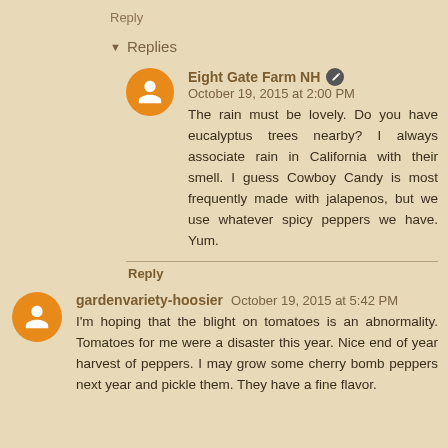Reply
Replies
Eight Gate Farm NH  October 19, 2015 at 2:00 PM
The rain must be lovely. Do you have eucalyptus trees nearby? I always associate rain in California with their smell. I guess Cowboy Candy is most frequently made with jalapenos, but we use whatever spicy peppers we have. Yum.
Reply
gardenvariety-hoosier  October 19, 2015 at 5:42 PM
I'm hoping that the blight on tomatoes is an abnormality. Tomatoes for me were a disaster this year. Nice end of year harvest of peppers. I may grow some cherry bomb peppers next year and pickle them. They have a fine flavor.